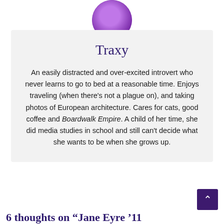[Figure (photo): Circular avatar/profile photo of a person with a purple tinted background, partially visible at the top of the page]
Traxy
An easily distracted and over-excited introvert who never learns to go to bed at a reasonable time. Enjoys traveling (when there's not a plague on), and taking photos of European architecture. Cares for cats, good coffee and Boardwalk Empire. A child of her time, she did media studies in school and still can't decide what she wants to be when she grows up.
6 thoughts on "Jane Eyre '11